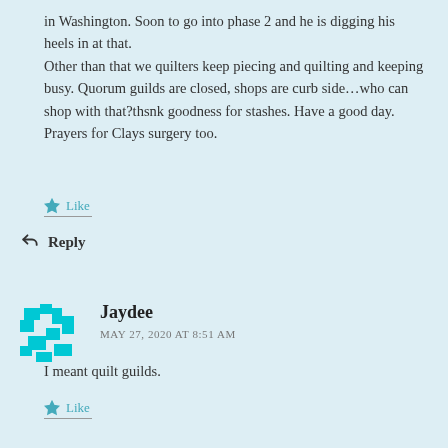in Washington. Soon to go into phase 2 and he is digging his heels in at that.
Other than that we quilters keep piecing and quilting and keeping busy. Quorum guilds are closed, shops are curb side…who can shop with that?thsnk goodness for stashes. Have a good day. Prayers for Clays surgery too.
Like
Reply
Jaydee
MAY 27, 2020 AT 8:51 AM
I meant quilt guilds.
Like